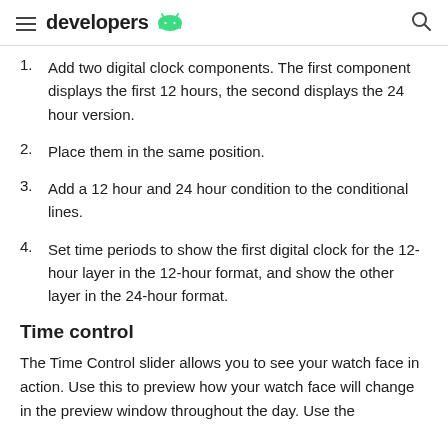developers
Add two digital clock components. The first component displays the first 12 hours, the second displays the 24 hour version.
Place them in the same position.
Add a 12 hour and 24 hour condition to the conditional lines.
Set time periods to show the first digital clock for the 12-hour layer in the 12-hour format, and show the other layer in the 24-hour format.
Time control
The Time Control slider allows you to see your watch face in action. Use this to preview how your watch face will change in the preview window throughout the day. Use the